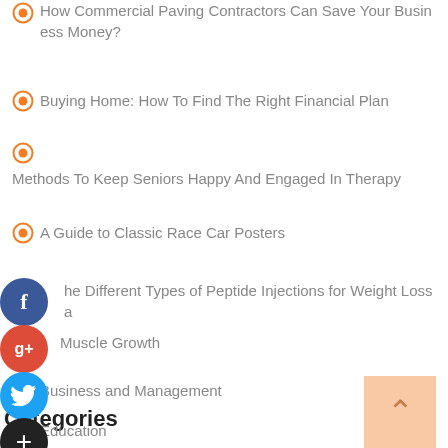How Commercial Paving Contractors Can Save Your Business Money?
Buying Home: How To Find The Right Financial Plan
Methods To Keep Seniors Happy And Engaged In Therapy
A Guide to Classic Race Car Posters
The Different Types of Peptide Injections for Weight Loss and Muscle Growth
Categories
Business and Management
Education